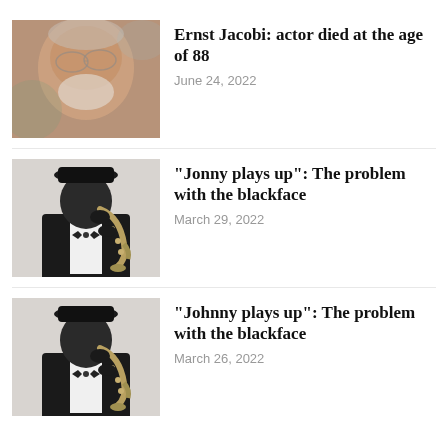[Figure (photo): Close-up photo of an elderly man with white beard and glasses, slightly open mouth, warm skin tones]
Ernst Jacobi: actor died at the age of 88
June 24, 2022
[Figure (photo): Black and white photo of a person in blackface makeup wearing a tuxedo and bow tie, playing a saxophone]
“Jonny plays up”: The problem with the blackface
March 29, 2022
[Figure (photo): Black and white photo of a person in blackface makeup wearing a tuxedo and bow tie, playing a saxophone]
“Johnny plays up”: The problem with the blackface
March 26, 2022